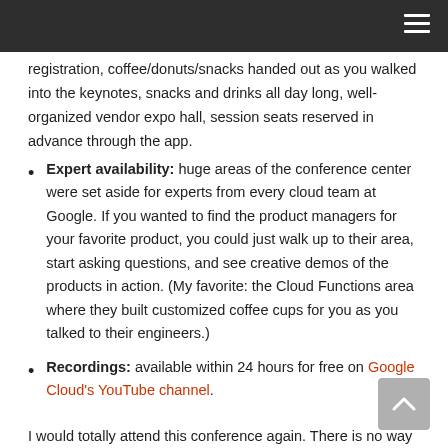registration, coffee/donuts/snacks handed out as you walked into the keynotes, snacks and drinks all day long, well-organized vendor expo hall, session seats reserved in advance through the app.
Expert availability: huge areas of the conference center were set aside for experts from every cloud team at Google. If you wanted to find the product managers for your favorite product, you could just walk up to their area, start asking questions, and see creative demos of the products in action. (My favorite: the Cloud Functions area where they built customized coffee cups for you as you talked to their engineers.)
Recordings: available within 24 hours for free on Google Cloud's YouTube channel.
I would totally attend this conference again. There is no way they're making money on this conference – they're losing their shirt, and you can tell. The value for attendee dollars spent is